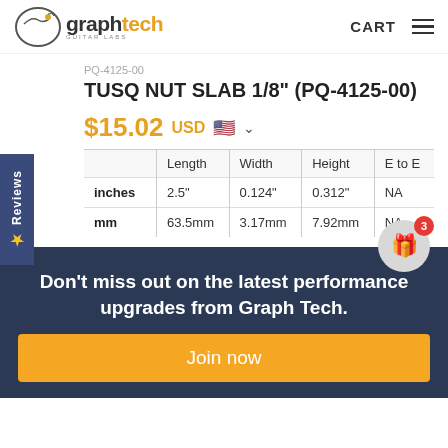Graph Tech Guitar Labs — CART
TUSQ NUT SLAB 1/8" (PQ-4125-00)
$15.02 USD
|  | Length | Width | Height | E to E |
| --- | --- | --- | --- | --- |
| inches | 2.5" | 0.124" | 0.312" | NA |
| mm | 63.5mm | 3.17mm | 7.92mm | NA |
Don't miss out on the latest performance upgrades from Graph Tech.
Join now